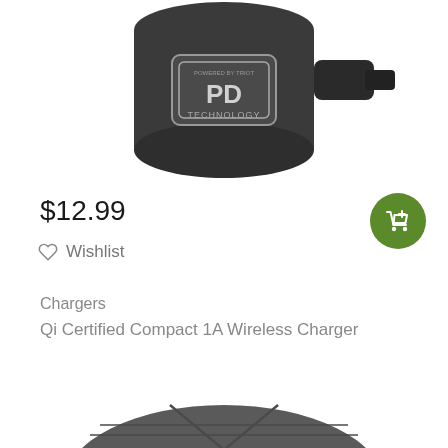[Figure (photo): Top portion of a dark/black car charger or adapter with a circular PD Technology logo label, partially cropped at the top of the page]
$12.99
Wishlist
Chargers
Qi Certified Compact 1A Wireless Charger
[Figure (photo): Top portion of a round dark gray wireless charging pad, partially cropped at the bottom of the page]